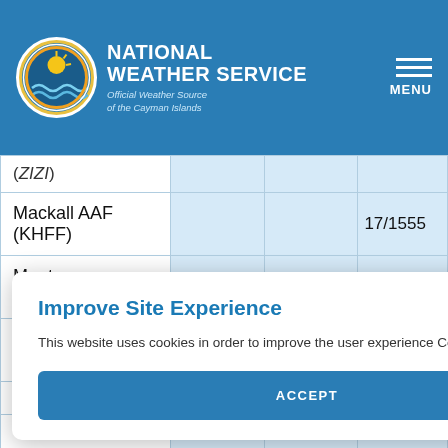National Weather Service — Official Weather Source of the Cayman Islands
| Station |  |  |  |
| --- | --- | --- | --- |
| (ZIZI) |  |  |  |
| Mackall AAF (KHFF) |  |  | 17/1555 |
| Manteo (KMQI) |  |  | 18/1100 |
| New Bern (KEWN) |  |  | 18/010 |
| Plumtree |  |  |  |
|  |  |  | 18/081 |
|  |  |  | 17/1951 |
| Rich |  |  |  |
Improve Site Experience
This website uses cookies in order to improve the user experience Cookies
ACCEPT